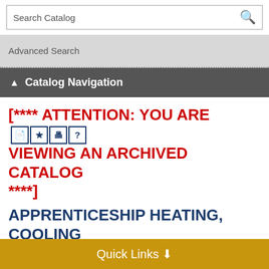Search Catalog
Advanced Search
Catalog Navigation
[**** ATTENTION: YOU ARE VIEWING AN ARCHIVED CATALOG ****]
APPRENTICESHIP HEATING, COOLING & REFRIGERATION (HVAC): AAS (CTE)
Quick Links